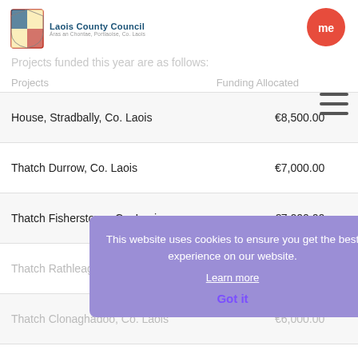Laois County Council
Projects funded this year are as follows:
| Projects | Funding Allocated |
| --- | --- |
| House, Stradbally, Co. Laois | €8,500.00 |
| Thatch Durrow, Co. Laois | €7,000.00 |
| Thatch Fisherstown, Co. Laois | €7,000.00 |
| Thatch Rathleague, Co. Laois | €7,000.00 |
| Thatch Clonaghadoo, Co. Laois | €6,000.00 |
| St Paul's French Church |  |
This website uses cookies to ensure you get the best experience on our website. Learn more. Got it